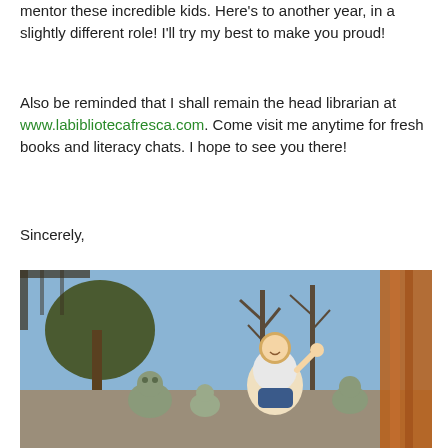mentor these incredible kids. Here's to another year, in a slightly different role! I'll try my best to make you proud!
Also be reminded that I shall remain the head librarian at www.labibliotecafresca.com. Come visit me anytime for fresh books and literacy chats. I hope to see you there!
Sincerely,
The Best Worst Librarian, Chief Literacy Advisor, aka the new Literacy Cruise Director,
Ms. Frenchie-Fry
[Figure (photo): A smiling blonde woman sitting outdoors among stone frog sculptures and a large woven rope/basket structure, with bare trees and blue sky in the background.]